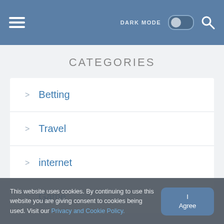DARK MODE [toggle] [search]
CATEGORIES
> Betting
> Travel
> internet
> Game
> CBD
> Home
This website uses cookies. By continuing to use this website you are giving consent to cookies being used. Visit our Privacy and Cookie Policy.